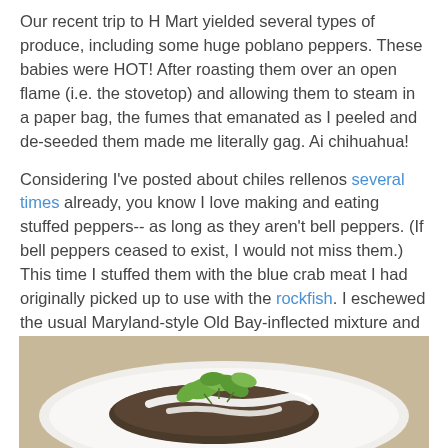Our recent trip to H Mart yielded several types of produce, including some huge poblano peppers. These babies were HOT! After roasting them over an open flame (i.e. the stovetop) and allowing them to steam in a paper bag, the fumes that emanated as I peeled and de-seeded them made me literally gag. Ai chihuahua!
Considering I've posted about chiles rellenos several times already, you know I love making and eating stuffed peppers-- as long as they aren't bell peppers. (If bell peppers ceased to exist, I would not miss them.) This time I stuffed them with the blue crab meat I had originally picked up to use with the rockfish. I eschewed the usual Maryland-style Old Bay-inflected mixture and instead added pinches of cumin and ancho chile powder and a wee bit of molé paste to an otherwise fairly typical crab cake base of milk and bread (also called a panade), egg, and mayo.
[Figure (photo): A plated dish showing a stuffed pepper topped with white sauce and fresh herb garnish (cilantro), served on a white plate.]